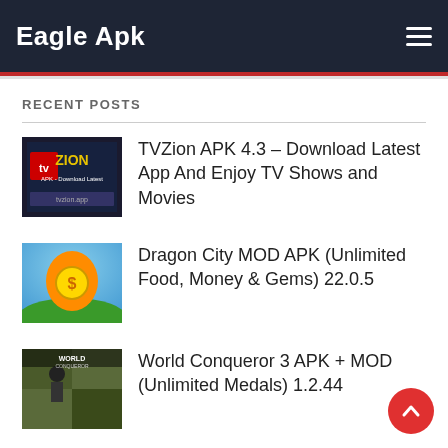Eagle Apk
RECENT POSTS
TVZion APK 4.3 – Download Latest App And Enjoy TV Shows and Movies
Dragon City MOD APK (Unlimited Food, Money & Gems) 22.0.5
World Conqueror 3 APK + MOD (Unlimited Medals) 1.2.44